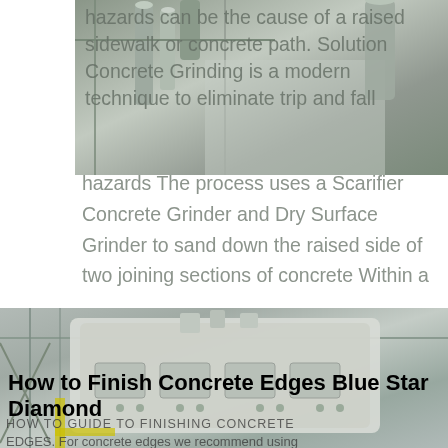[Figure (photo): Industrial machinery photo showing pipes and equipment in a factory setting, partially overlaid with gray text]
hazards can be the cause of a raised sidewalk or concrete path. Solution Concrete Grinding is a modern technique to eliminate trip and fall hazards The process uses a Scarifier Concrete Grinder and Dry Surface Grinder to sand down the raised side of two joining sections of concrete Within a
[Figure (photo): Large industrial concrete grinding machine (white/cream colored) inside a warehouse/factory with steel structure visible. Machine appears to be a heavy-duty surface grinder.]
How to Finish Concrete Edges Blue Star Diamond
HOW TO GUIDE TO FINISHING CONCRETE EDGES. For concrete edges we recommend using